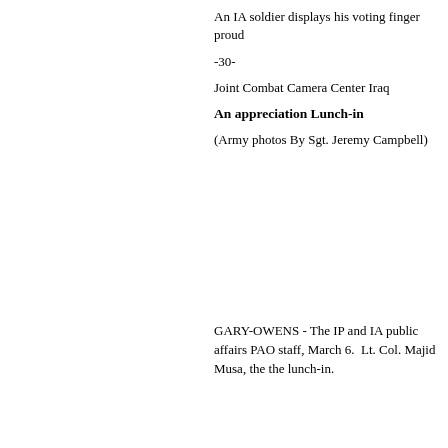An IA soldier displays his voting finger proud
-30-
Joint Combat Camera Center Iraq
An appreciation Lunch-in
(Army photos By Sgt. Jeremy Campbell)
GARY-OWENS - The IP and IA public affairs PAO staff, March 6.  Lt. Col. Majid Musa, the the lunch-in.